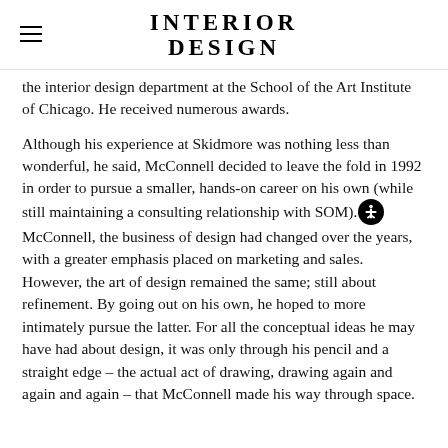INTERIOR DESIGN
the interior design department at the School of the Art Institute of Chicago. He received numerous awards.
Although his experience at Skidmore was nothing less than wonderful, he said, McConnell decided to leave the fold in 1992 in order to pursue a smaller, hands-on career on his own (while still maintaining a consulting relationship with SOM). McConnell, the business of design had changed over the years, with a greater emphasis placed on marketing and sales. However, the art of design remained the same; still about refinement. By going out on his own, he hoped to more intimately pursue the latter. For all the conceptual ideas he may have had about design, it was only through his pencil and a straight edge – the actual act of drawing, drawing again and again and again – that McConnell made his way through space.